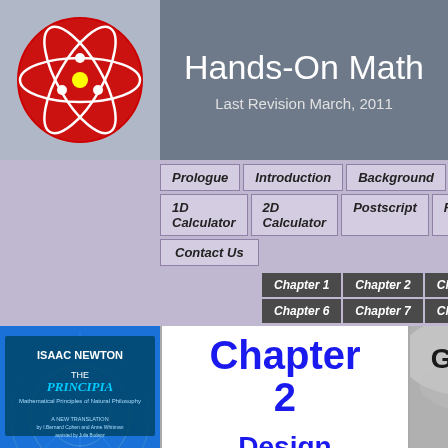Hands-On Math
Last Revision March, 2011
Prologue
Introduction
Background
Download
1D Calculator
2D Calculator
Postscript
Reference
Contact Us
Chapter 1
Chapter 2
Chapter 3
Chapter 4
C...
Chapter 6
Chapter 7
Chapter 8
Chapter 9
[Figure (illustration): Cover of Isaac Newton The Principia book with blue background]
Chapter 2

Design a Simple Eave Trough using
[Figure (illustration): Cover of Galileo Dialogue Concerning the Two Chief World Systems book]